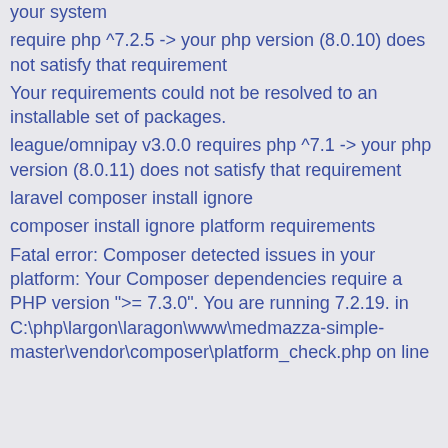your system
require php ^7.2.5 -> your php version (8.0.10) does not satisfy that requirement
Your requirements could not be resolved to an installable set of packages.
league/omnipay v3.0.0 requires php ^7.1 -> your php version (8.0.11) does not satisfy that requirement
laravel composer install ignore
composer install ignore platform requirements
Fatal error: Composer detected issues in your platform: Your Composer dependencies require a PHP version ">= 7.3.0". You are running 7.2.19. in C:\php\largon\laragon\www\medmazza-simple-master\vendor\composer\platform_check.php on line